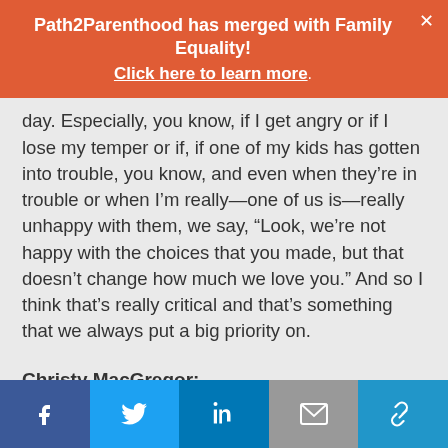Path2Parenthood has merged with Family Equality! Click here to learn more.
day. Especially, you know, if I get angry or if I lose my temper or if, if one of my kids has gotten into trouble, you know, and even when they’re in trouble or when I’m really—one of us is—really unhappy with them, we say, “Look, we’re not happy with the choices that you made, but that doesn’t change how much we love you.” And so I think that’s really critical and that’s something that we always put a big priority on.
Christy MacGregor:
Last question is, do you have a recommendation